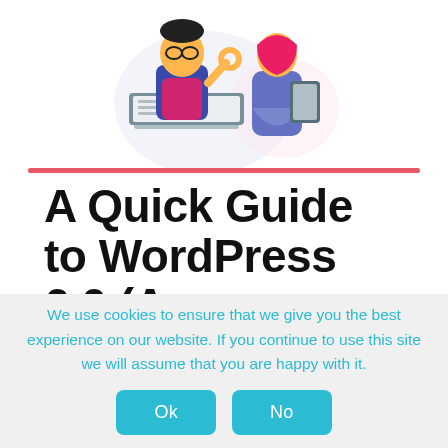[Figure (illustration): Two illustrated cartoon characters: a man with glasses sitting at a laptop making an OK gesture, and a woman in a headscarf holding a tablet, against a light background with a pink/red horizontal line below them.]
A Quick Guide to WordPress 6.0 (An Overview of New Features)
We use cookies to ensure that we give you the best experience on our website. If you continue to use this site we will assume that you are happy with it.